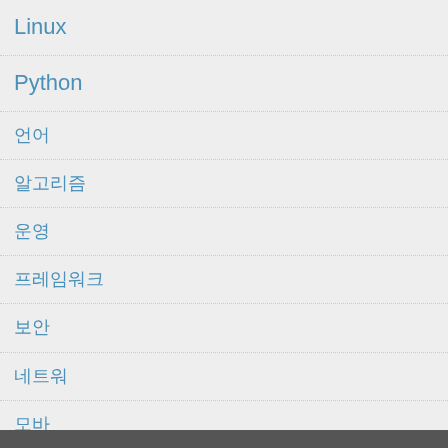Linux
Python
언어
알고리즘
운영
프레임워크
보안
네트워
모바
데이터